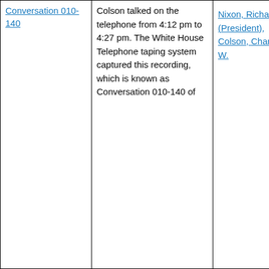| Conversation 010-140 | Colson talked on the telephone from 4:12 pm to 4:27 pm. The White House Telephone taping system captured this recording, which is known as Conversation 010-140 of | Nixon, Richard M. (President), Colson, Charles W. |